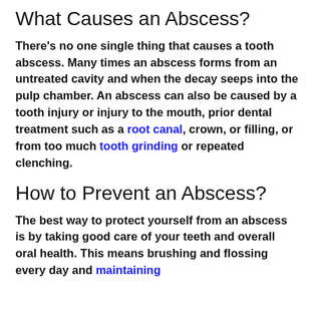What Causes an Abscess?
There's no one single thing that causes a tooth abscess. Many times an abscess forms from an untreated cavity and when the decay seeps into the pulp chamber. An abscess can also be caused by a tooth injury or injury to the mouth, prior dental treatment such as a root canal, crown, or filling, or from too much tooth grinding or repeated clenching.
How to Prevent an Abscess?
The best way to protect yourself from an abscess is by taking good care of your teeth and overall oral health. This means brushing and flossing every day and maintaining